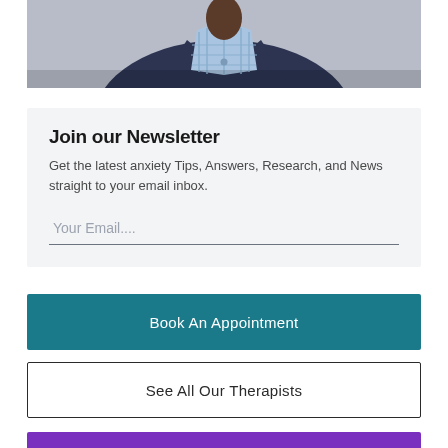[Figure (photo): Partial view of a person wearing a dark navy blazer and a light blue plaid/striped shirt, cropped at the shoulders and torso — only the lower neck and upper chest visible]
Join our Newsletter
Get the latest anxiety Tips, Answers, Research, and News straight to your email inbox.
Your Email....
Book An Appointment
See All Our Therapists
Anxiety Therapy, Coaching, Counselling